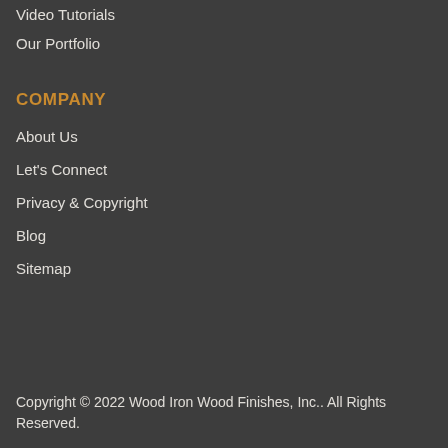Video Tutorials
Our Portfolio
COMPANY
About Us
Let's Connect
Privacy & Copyright
Blog
Sitemap
Copyright © 2022 Wood Iron Wood Finishes, Inc.. All Rights Reserved.